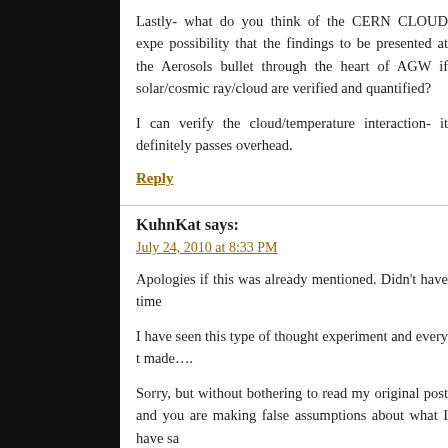Lastly- what do you think of the CERN CLOUD experiment and the possibility that the findings to be presented at the Aerosols… bullet through the heart of AGW if solar/cosmic ray/cloud… are verified and quantified?
I can verify the cloud/temperature interaction- it definitely… passes overhead.
Reply
KuhnKat says:
July 24, 2010 at 8:33 PM
Apologies if this was already mentioned. Didn't have time…
I have seen this type of thought experiment and every t… made….
Sorry, but without bothering to read my original post and… you are making false assumptions about what I have sa…